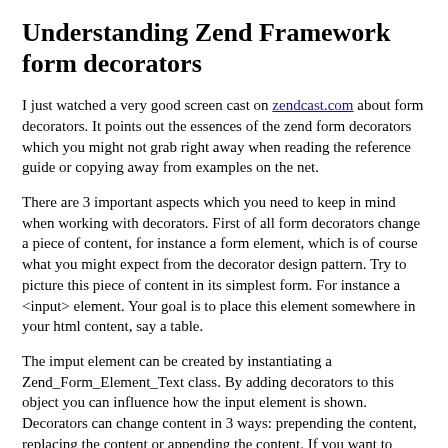Understanding Zend Framework form decorators
I just watched a very good screen cast on zendcast.com about form decorators. It points out the essences of the zend form decorators which you might not grab right away when reading the reference guide or copying away from examples on the net.
There are 3 important aspects which you need to keep in mind when working with decorators. First of all form decorators change a piece of content, for instance a form element, which is of course what you might expect from the decorator design pattern. Try to picture this piece of content in its simplest form. For instance a <input> element. Your goal is to place this element somewhere in your html content, say a table.
The imput element can be created by instantiating a Zend_Form_Element_Text class. By adding decorators to this object you can influence how the input element is shown. Decorators can change content in 3 ways: prepending the content, replacing the content or appending the content. If you want to render the input element in table cell, you should use a decorator which replaces the content punting <td> tags around it: